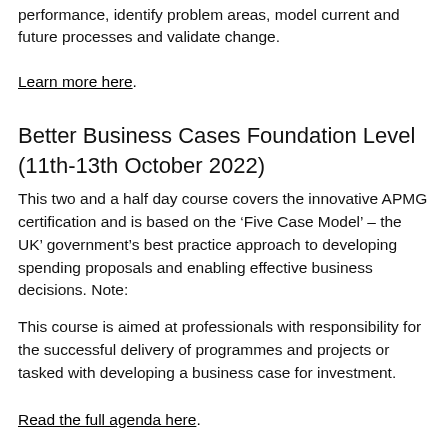performance, identify problem areas, model current and future processes and validate change.
Learn more here.
Better Business Cases Foundation Level (11th-13th October 2022)
This two and a half day course covers the innovative APMG certification and is based on the ‘Five Case Model’ – the UK’ government’s best practice approach to developing spending proposals and enabling effective business decisions. Note:
This course is aimed at professionals with responsibility for the successful delivery of programmes and projects or tasked with developing a business case for investment.
Read the full agenda here.